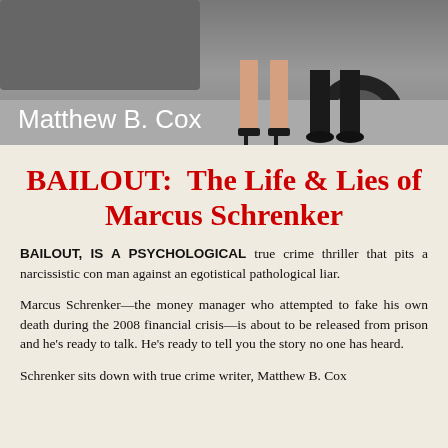[Figure (photo): Cropped photo showing legs and feet of two people standing near a car wheel. 'Matthew B. Cox' author name overlaid in white text on the lower left.]
BAILOUT:  The Life & Lies of Marcus Schrenker
BAILOUT, IS A PSYCHOLOGICAL true crime thriller that pits a narcissistic con man against an egotistical pathological liar.
Marcus Schrenker—the money manager who attempted to fake his own death during the 2008 financial crisis—is about to be released from prison and he's ready to talk. He's ready to tell you the story no one has heard.
Schrenker sits down with true crime writer, Matthew B. Cox